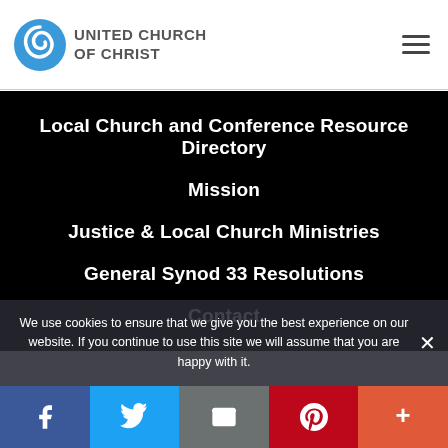[Figure (logo): United Church of Christ logo with blue spiral icon and organization name]
Local Church and Conference Resource Directory
Mission
Justice & Local Church Ministries
General Synod 33 Resolutions
Contact
We use cookies to ensure that we give you the best experience on our website. If you continue to use this site we will assume that you are happy with it.
[Figure (infographic): Social share bar with Facebook, Twitter, Email, Pinterest, and More buttons]